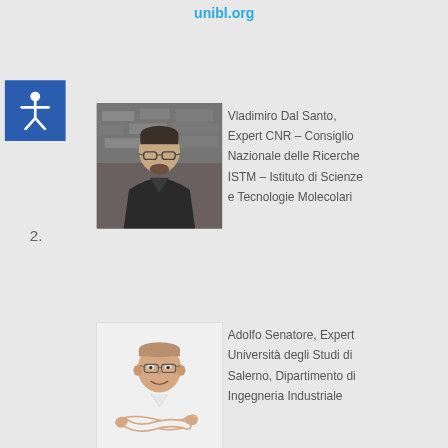unibl.org
[Figure (other): Accessibility icon button: white person figure with raised arms on blue square background]
2.
[Figure (photo): Photo of Vladimiro Dal Santo, a man with glasses and beard wearing a black jacket, outdoors with stone architecture behind]
Vladimiro Dal Santo, Expert CNR – Consiglio Nazionale delle Ricerche ISTM – Istituto di Scienze e Tecnologie Molecolari
3.
[Figure (photo): Photo of Adolfo Senatore, a man in white shirt with arms crossed, smiling, against white background]
Adolfo Senatore, Expert Università degli Studi di Salerno, Dipartimento di Ingegneria Industriale
[Figure (photo): Partial photo of Milica Bolchan, Expert (cut off at bottom of page)]
Milica Bolchan, Expert